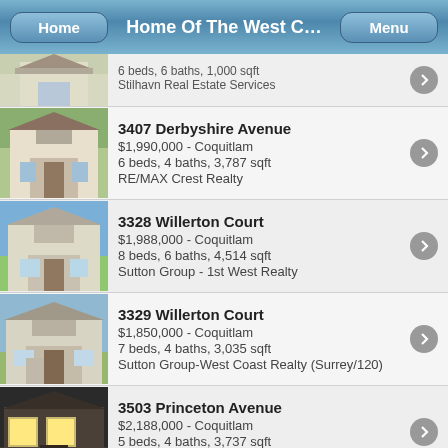Home Of The West C...
3407 Derbyshire Avenue
$1,990,000 - Coquitlam
6 beds, 4 baths, 3,787 sqft
RE/MAX Crest Realty
3328 Willerton Court
$1,988,000 - Coquitlam
8 beds, 6 baths, 4,514 sqft
Sutton Group - 1st West Realty
3329 Willerton Court
$1,850,000 - Coquitlam
7 beds, 4 baths, 3,035 sqft
Sutton Group-West Coast Realty (Surrey/120)
3503 Princeton Avenue
$2,188,000 - Coquitlam
5 beds, 4 baths, 3,737 sqft
Royal LePage West Real Estate Services
1514 Dayton Street
$2,180,000 - Coquitlam
5 beds, 4 baths, 3,035 sqft